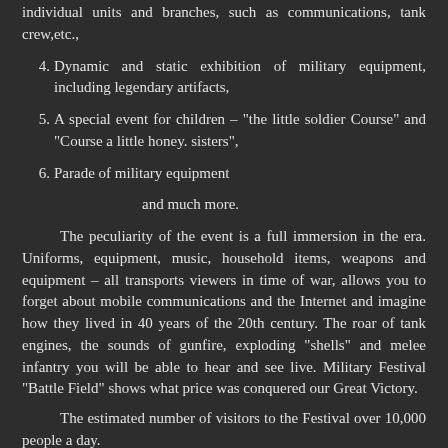interactive site showing in real time the actions of individual units and branches, such as communications, tank crew,etc.,
4. Dynamic and static exhibition of military equipment, including legendary artifacts,
5. A special event for children – "the little soldier Course" and "Course a little honey. sisters",
6. Parade of military equipment
and much more.
The peculiarity of the event is a full immersion in the era. Uniforms, equipment, music, household items, weapons and equipment – all transports viewers in time of war, allows you to forget about mobile communications and the Internet and imagine how they lived in 40 years of the 20th century. The roar of tank engines, the sounds of gunfire, exploding "shells" and melee infantry you will be able to hear and see live. Military Festival "Battle Field" shows what price was conquered our Great Victory.
The estimated number of visitors to the Festival over 10,000 people a day.